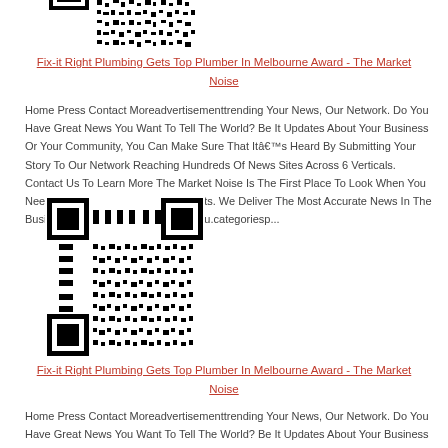[Figure (other): QR code image (partial, top cropped)]
Fix-it Right Plumbing Gets Top Plumber In Melbourne Award - The Market Noise
Home Press Contact Moreadvertisementtrending Your News, Our Network. Do You Have Great News You Want To Tell The World? Be It Updates About Your Business Or Your Community, You Can Make Sure That Itâ€™s Heard By Submitting Your Story To Our Network Reaching Hundreds Of News Sites Across 6 Verticals. Contact Us To Learn More The Market Noise Is The First Place To Look When You Need Financial And Economic Insights. We Deliver The Most Accurate News In The Business And Marketing World To You.categoriesp...
[Figure (other): QR code image]
Fix-it Right Plumbing Gets Top Plumber In Melbourne Award - The Market Noise
Home Press Contact Moreadvertisementtrending Your News, Our Network. Do You Have Great News You Want To Tell The World? Be It Updates About Your Business Or Your Community, You Can Make Sure That Itâ€™s Heard By Submitting Your Story To Our Network Reaching Hundreds Of News Sites Across 6 Verticals. Contact Us To Learn More The Market Noise Is The First Place To Look When You Need Financial And Economic Insights. We Deliver The Most Accurate News In The Business And Marketing World To You.categoriesp...